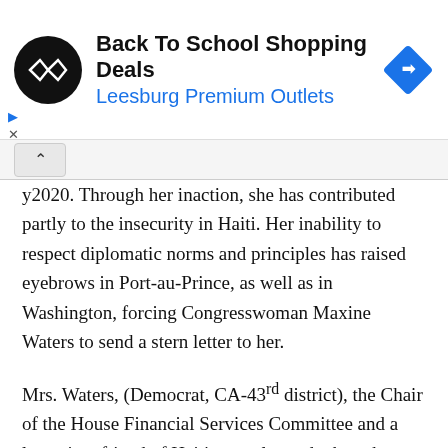[Figure (other): Advertisement banner: Back To School Shopping Deals, Leesburg Premium Outlets, with circular logo and blue diamond navigation icon]
y2020. Through her inaction, she has contributed partly to the insecurity in Haiti. Her inability to respect diplomatic norms and principles has raised eyebrows in Port-au-Prince, as well as in Washington, forcing Congresswoman Maxine Waters to send a stern letter to her.
Mrs. Waters, (Democrat, CA-43rd district), the Chair of the House Financial Services Committee and a long-time friend of Haiti, was alarmed when she read reports concerning violent attacks in several impoverished neighborhoods of Port-au-Prince by a death squad headed by gang leader Jimmy Chérizier, alias Barbecue, with the support of the Haitian police.
In her letter, last May, to the Honorable Ambassador, Ms.